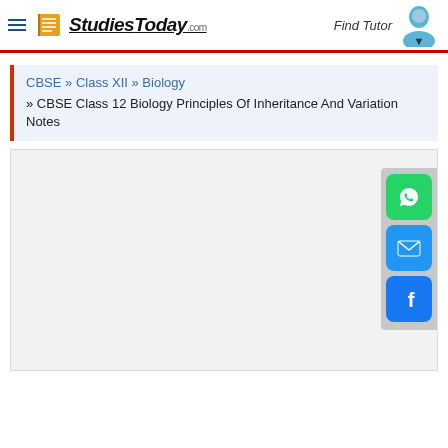StudiesToday.com | Find Tutor
CBSE » Class XII » Biology » CBSE Class 12 Biology Principles Of Inheritance And Variation Notes
[Figure (screenshot): Empty content area with social share buttons (WhatsApp, Email, Facebook) on the right side]